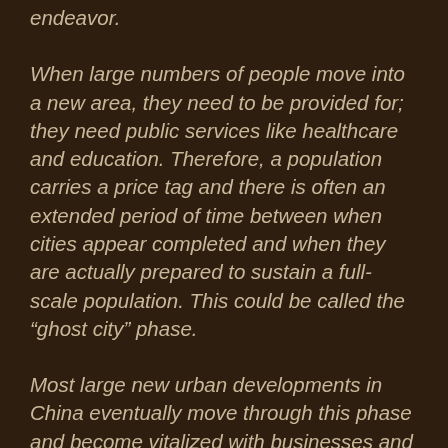endeavor.
When large numbers of people move into a new area, they need to be provided for; they need public services like healthcare and education. Therefore, a population carries a price tag and there is often an extended period of time between when cities appear completed and when they are actually prepared to sustain a full-scale population. This could be called the “ghost city” phase.
Most large new urban developments in China eventually move through this phase and become vitalized with businesses and a population. Essential infrastructure gets built, shopping malls open, and places where residents can work are created. In many of the biggest new